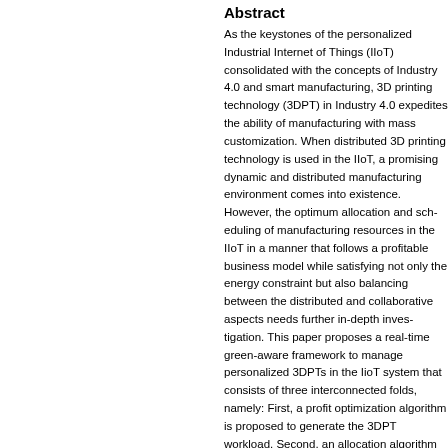Abstract
As the keystones of the personalized Industrial Internet of Things (IIoT) consolidated with the concepts of Industry 4.0 and smart manufacturing, 3D printing technology (3DPT) in Industry 4.0 expedites the ability of manufacturing with mass customization. When distributed 3D printing technology is used in the IIoT, a promising dynamic and distributed manufacturing environment comes into existence. However, the optimum allocation and scheduling of manufacturing resources in the IIoT in a manner that follows a profitable business model while satisfying not only the energy constraint but also balancing between the distributed and collaborative aspects needs further in-depth investigation. This paper proposes a real-time green-aware framework to manage personalized 3DPTs in the IIoT system that consists of three interconnected folds, namely: First, a profit optimization algorithm is proposed to generate the 3DPT workload. Second, an allocation algorithm takes into account the job priority and user-defined attributes for each job in order to appropriately balance the workload between the different 3DPTs to increase energy efficiency. Moreover, the energy consumption of each 3DPT is among the main objectives. Third, to meet the above goals, an adaptive real-time multi-objective scheduling algorithm has been developed. The built-in scheduler takes into account and the real-time requirements of the IoT smart manufacturing